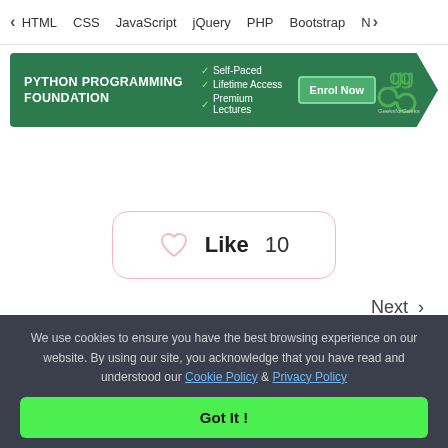< HTML  CSS  JavaScript  jQuery  PHP  Bootstrap  N>
[Figure (screenshot): GeeksforGeeks Python Programming Foundation course banner with green background, checkmarks for Self-Paced, Lifetime Access, Premium Lectures, Enrol Now button, and GfG logo]
[Figure (other): Like button with heart icon showing count of 10]
Next >
We use cookies to ensure you have the best browsing experience on our website. By using our site, you acknowledge that you have read and understood our Cookie Policy & Privacy Policy
Got It !